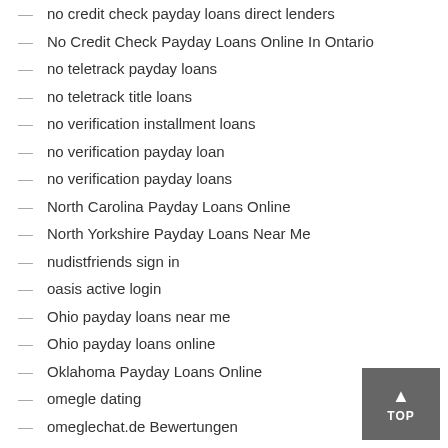no credit check payday loans direct lenders
No Credit Check Payday Loans Online In Ontario
no teletrack payday loans
no teletrack title loans
no verification installment loans
no verification payday loan
no verification payday loans
North Carolina Payday Loans Online
North Yorkshire Payday Loans Near Me
nudistfriends sign in
oasis active login
Ohio payday loans near me
Ohio payday loans online
Oklahoma Payday Loans Online
omegle dating
omeglechat.de Bewertungen